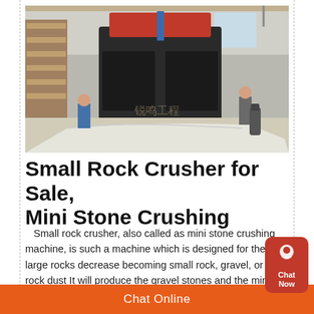[Figure (photo): Industrial photo of a large black rock crusher machine in a factory/warehouse setting, with workers around it and a white tarp on the floor. A watermark in Chinese characters is visible.]
Small Rock Crusher for Sale, Mini Stone Crushing
Small rock crusher, also called as mini stone crushing machine, is such a machine which is designed for the large rocks decrease becoming small rock, gravel, or rock dust It will produce the gravel stones and the mining ores, or the filling material used to beautify and erosion controlRock
Chat Online